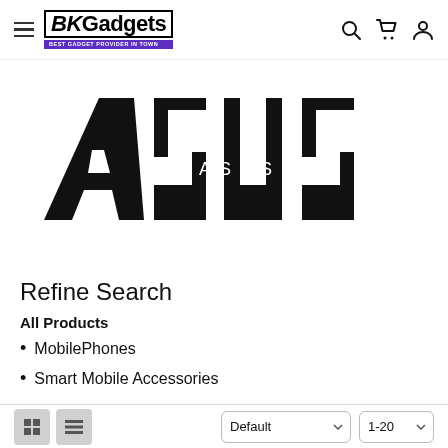BKGadgets - BEST GADGET PROVIDER IN TOWN
[Figure (logo): ASUS brand logo in large bold black text on white background]
Refine Search
All Products
MobilePhones
Smart Mobile Accessories
Default | 1-20